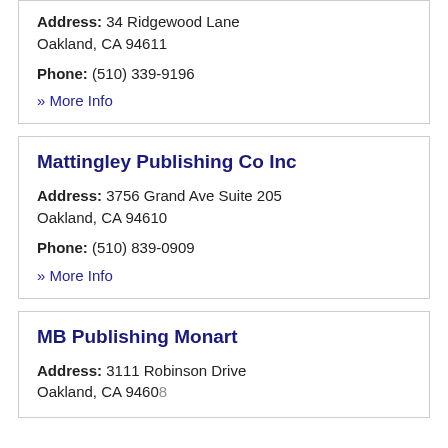Address: 34 Ridgewood Lane Oakland, CA 94611
Phone: (510) 339-9196
» More Info
Mattingley Publishing Co Inc
Address: 3756 Grand Ave Suite 205 Oakland, CA 94610
Phone: (510) 839-0909
» More Info
MB Publishing Monart
Address: 3111 Robinson Drive Oakland, CA 94608